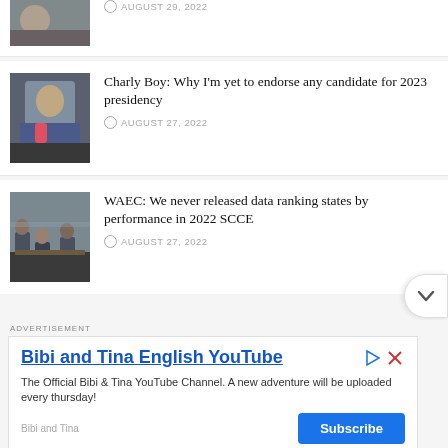AUGUST 29, 2022
[Figure (photo): Partial photo of a person, cropped at top]
Charly Boy: Why I'm yet to endorse any candidate for 2023 presidency
AUGUST 27, 2022
[Figure (photo): Photo of Charly Boy seated]
WAEC: We never released data ranking states by performance in 2022 SCCE
AUGUST 27, 2022
[Figure (photo): Photo of students in a classroom/exam hall]
ADVERTISEMENT
Bibi and Tina English YouTube
The Official Bibi & Tina YouTube Channel. A new adventure will be uploaded every thursday!
Bibi and Tina
Subscribe